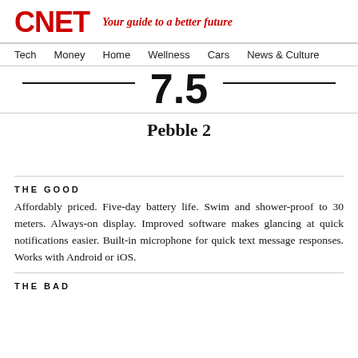CNET — Your guide to a better future
Tech  Money  Home  Wellness  Cars  News & Culture
7.5
Pebble 2
THE GOOD
Affordably priced. Five-day battery life. Swim and shower-proof to 30 meters. Always-on display. Improved software makes glancing at quick notifications easier. Built-in microphone for quick text message responses. Works with Android or iOS.
THE BAD